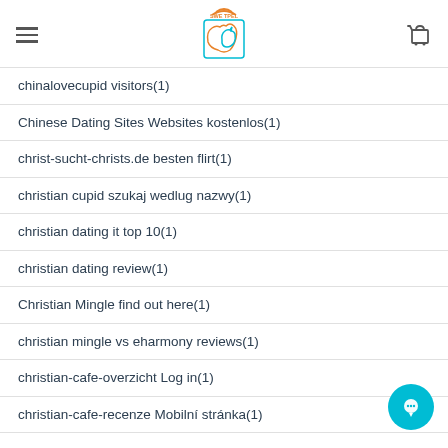Sweetpel logo, hamburger menu, cart icon
chinalovecupid visitors(1)
Chinese Dating Sites Websites kostenlos(1)
christ-sucht-christs.de besten flirt(1)
christian cupid szukaj wedlug nazwy(1)
christian dating it top 10(1)
christian dating review(1)
Christian Mingle find out here(1)
christian mingle vs eharmony reviews(1)
christian-cafe-overzicht Log in(1)
christian-cafe-recenze Mobilní stránka(1)